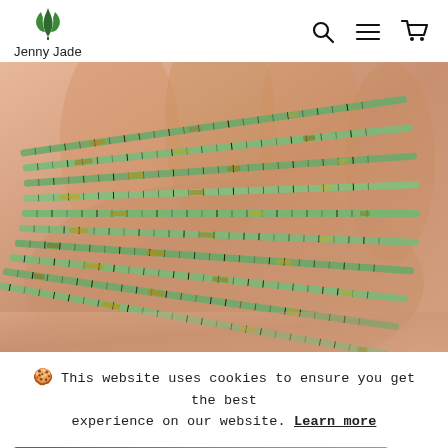Jenny Jade
[Figure (photo): Close-up photo of multiple strands of small cylindrical turquoise/green beads held in a hand, showing natural stone texture with black and yellow markings.]
🍪 This website uses cookies to ensure you get the best experience on our website. Learn more
Got it